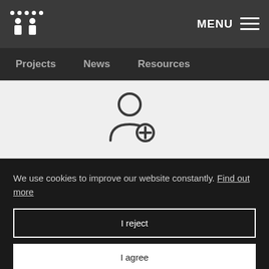MENU
Projects   News   Resources
[Figure (illustration): Add user icon: a person silhouette with a plus sign circle at the bottom right]
We use cookies to improve our website constantly. Find out more
I reject
I agree